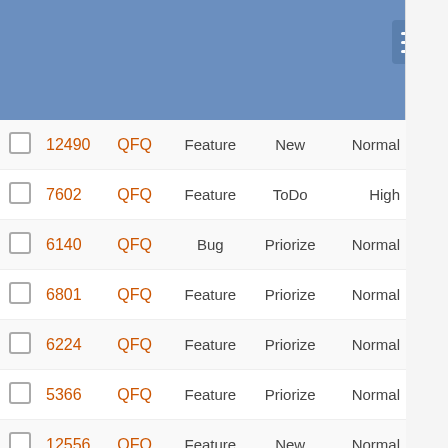|  | ID | Project | Type | Status | Priority |
| --- | --- | --- | --- | --- | --- |
|  | 12490 | QFQ | Feature | New | Normal |
|  | 7602 | QFQ | Feature | ToDo | High |
|  | 6140 | QFQ | Bug | Priorize | Normal |
|  | 6801 | QFQ | Feature | Priorize | Normal |
|  | 6224 | QFQ | Feature | Priorize | Normal |
|  | 5366 | QFQ | Feature | Priorize | Normal |
|  | 12556 | QFQ | Feature | New | Normal |
|  | 13528 | QFQ | Bug | New | Normal |
|  | 13647 | QFQ | Bug | New | Normal |